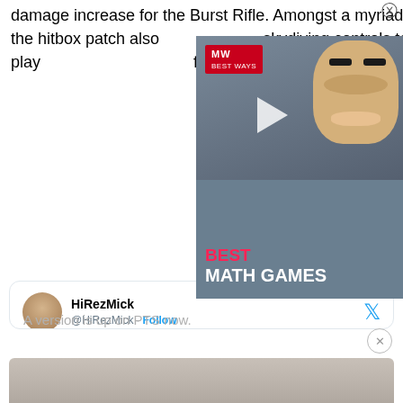damage increase for the Burst Rifle. Amongst a myriad of bug fixes, the hitbox patch also skydiving controls to allow play from far distances.
[Figure (screenshot): Advertisement overlay for 'Best Math Games' with MW logo, play button, and cartoon face on dark background]
HiRezMick @HiRezMick · Follow

Working on improvements to the @RealmRoyale hitboxes. Rather than a large, single hitbox, we're implementing a series of tighter boxes around the champion. This will lead to less false-positives, especially for above the shoulders and around the hips.

A version is up on PTS now.